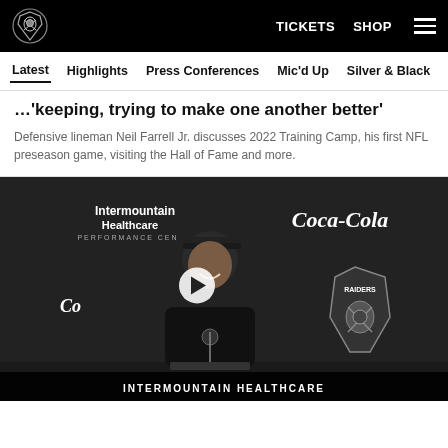Raiders | TICKETS SHOP
Latest | Highlights | Press Conferences | Mic'd Up | Silver & Black
…'keeping, trying to make one another better'
Defensive lineman Neil Farrell Jr. discusses 2022 Training Camp, his first NFL preseason game, visiting the Hall of Fame and more.
[Figure (photo): Neil Farrell Jr. at a press conference podium in front of an Intermountain Healthcare / Coca-Cola backdrop with Raiders shield logo visible. A play button overlay indicates a video.]